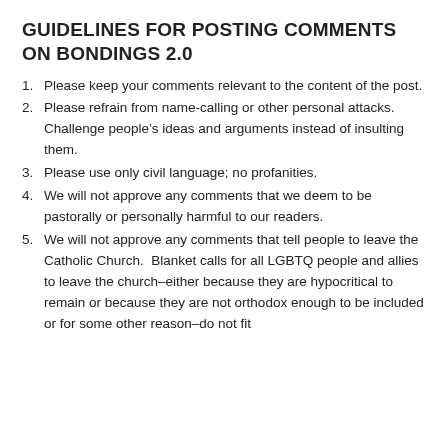GUIDELINES FOR POSTING COMMENTS ON BONDINGS 2.0
1. Please keep your comments relevant to the content of the post.
2. Please refrain from name-calling or other personal attacks.  Challenge people’s ideas and arguments instead of insulting them.
3. Please use only civil language; no profanities.
4. We will not approve any comments that we deem to be pastorally or personally harmful to our readers.
5. We will not approve any comments that tell people to leave the Catholic Church.  Blanket calls for all LGBTQ people and allies to leave the church–either because they are hypocritical to remain or because they are not orthodox enough to be included or for some other reason–do not fit